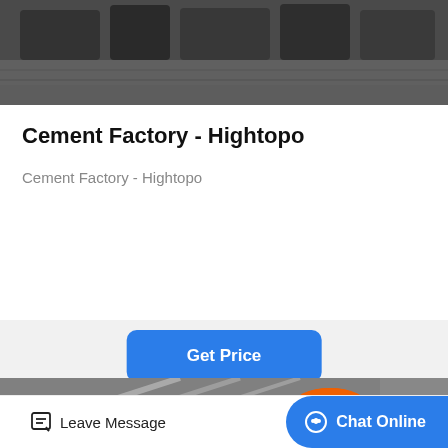[Figure (photo): Industrial factory floor with heavy machinery, dark monochrome tones]
Cement Factory - Hightopo
Cement Factory - Hightopo
[Figure (photo): Construction site or factory scene with worker in orange hard hat, white diagonal structural elements]
Leave Message
Chat Online